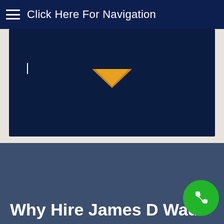Click Here For Navigation
[Figure (screenshot): Large dark navy blue rectangle representing a website content/hero area with an orange downward chevron arrow in the upper center and a cursor line on the left side]
Why Hire James D Wade